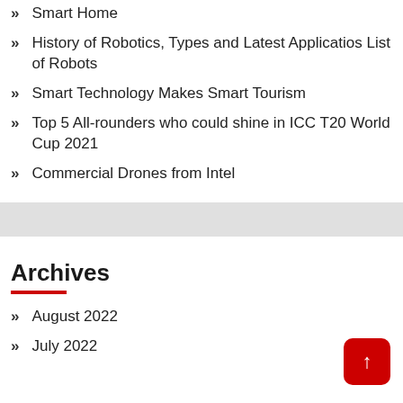Smart Home
History of Robotics, Types and Latest Applicatios List of Robots
Smart Technology Makes Smart Tourism
Top 5 All-rounders who could shine in ICC T20 World Cup 2021
Commercial Drones from Intel
Archives
August 2022
July 2022